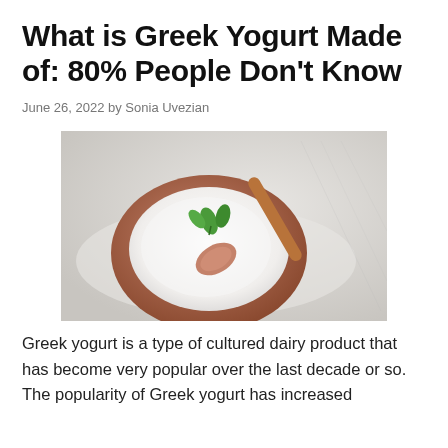What is Greek Yogurt Made of: 80% People Don't Know
June 26, 2022 by Sonia Uvezian
[Figure (photo): Overhead view of a terracotta bowl filled with white Greek yogurt garnished with fresh mint leaves, with a wooden spoon resting in the bowl, on a light grey linen surface.]
Greek yogurt is a type of cultured dairy product that has become very popular over the last decade or so. The popularity of Greek yogurt has increased significantly over the last decade or so.